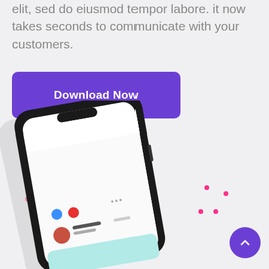elit, sed do eiusmod tempor labore. it now takes seconds to communicate with your customers.
[Figure (other): Purple 'Download Now' button]
[Figure (photo): Smartphone mockup showing a social/messaging app interface with user profile millie_l from London, England, with pink decorative dots and a purple scroll-up arrow button]